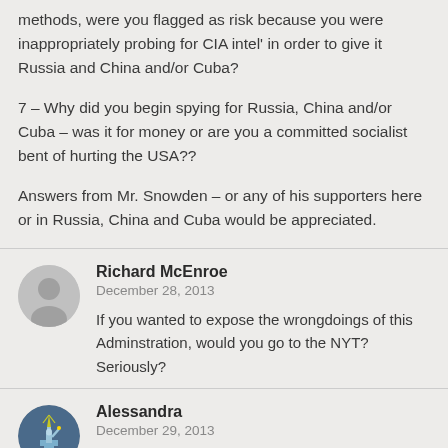methods, were you flagged as risk because you were inappropriately probing for CIA intel' in order to give it Russia and China and/or Cuba?
7 – Why did you begin spying for Russia, China and/or Cuba – was it for money or are you a committed socialist bent of hurting the USA??
Answers from Mr. Snowden – or any of his supporters here or in Russia, China and Cuba would be appreciated.
Richard McEnroe
December 28, 2013
If you wanted to expose the wrongdoings of this Adminstration, would you go to the NYT? Seriously?
Alessandra
December 29, 2013
IIRC, he did give the NYT one, a few stories and then on to tt fr...